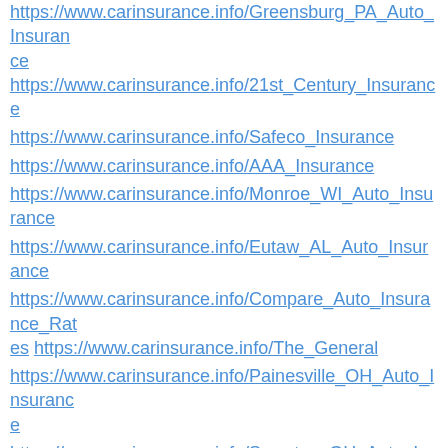https://www.carinsurance.info/Greensburg_PA_Auto_Insurance https://www.carinsurance.info/21st_Century_Insurance https://www.carinsurance.info/Safeco_Insurance https://www.carinsurance.info/AAA_Insurance https://www.carinsurance.info/Monroe_WI_Auto_Insurance https://www.carinsurance.info/Eutaw_AL_Auto_Insurance https://www.carinsurance.info/Compare_Auto_Insurance_Rates https://www.carinsurance.info/The_General https://www.carinsurance.info/Painesville_OH_Auto_Insurance https://www.carinsurance.info/Swanton_OH_Auto_Insurance https://www.carinsurance.info/Winthrop_ME_Auto_Insurance https://www.carinsurance.info/Plainsboro_NJ_Auto_Insurance https://www.carinsurance.info/Mansfield_OH_Auto_Insurance https://www.carinsurance.info/Brownsville_TN_Auto_Insurance